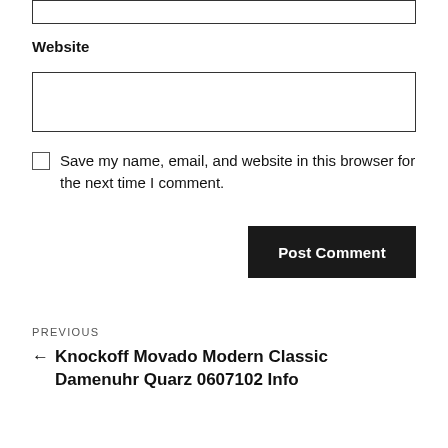Website
Save my name, email, and website in this browser for the next time I comment.
Post Comment
PREVIOUS
← Knockoff Movado Modern Classic Damenuhr Quarz 0607102 Info